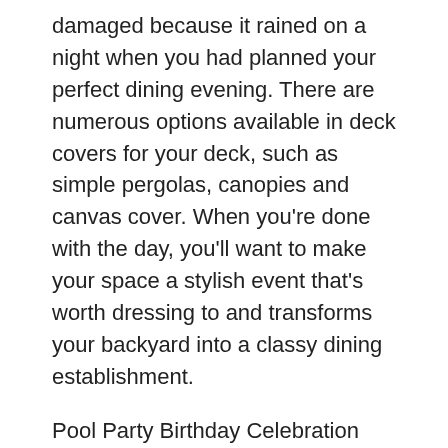damaged because it rained on a night when you had planned your perfect dining evening. There are numerous options available in deck covers for your deck, such as simple pergolas, canopies and canvas cover. When you're done with the day, you'll want to make your space a stylish event that's worth dressing to and transforms your backyard into a classy dining establishment.
Pool Party Birthday Celebration
You are looking for the ideal way to host an adult-only poolside celebration to honor you or those you love?
m1ok2dat2p.